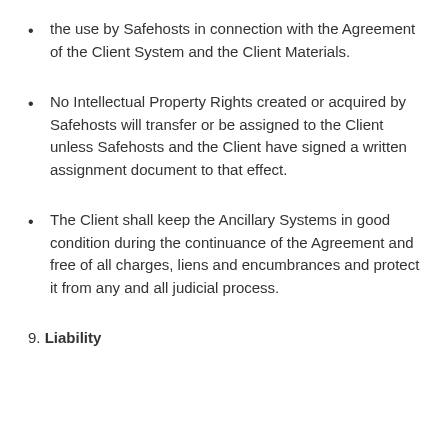the use by Safehosts in connection with the Agreement of the Client System and the Client Materials.
No Intellectual Property Rights created or acquired by Safehosts will transfer or be assigned to the Client unless Safehosts and the Client have signed a written assignment document to that effect.
The Client shall keep the Ancillary Systems in good condition during the continuance of the Agreement and free of all charges, liens and encumbrances and protect it from any and all judicial process.
9. Liability